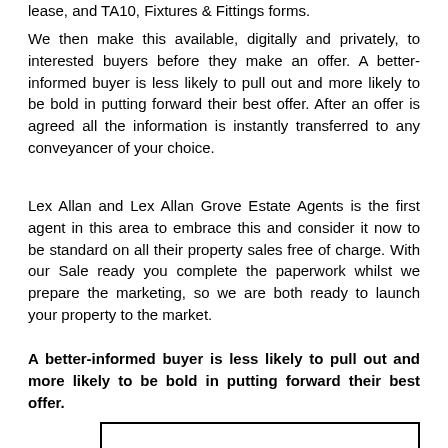lease, and TA10, Fixtures & Fittings forms.
We then make this available, digitally and privately, to interested buyers before they make an offer. A better-informed buyer is less likely to pull out and more likely to be bold in putting forward their best offer. After an offer is agreed all the information is instantly transferred to any conveyancer of your choice.
Lex Allan and Lex Allan Grove Estate Agents is the first agent in this area to embrace this and consider it now to be standard on all their property sales free of charge. With our Sale ready you complete the paperwork whilst we prepare the marketing, so we are both ready to launch your property to the market.
A better-informed buyer is less likely to pull out and more likely to be bold in putting forward their best offer.
[Figure (other): Rectangular box outline at bottom of page]